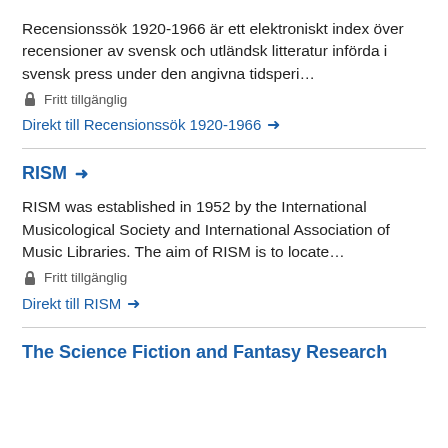Recensionssök 1920-1966 är ett elektroniskt index över recensioner av svensk och utländsk litteratur införda i svensk press under den angivna tidsperi…
🔒 Fritt tillgänglig
Direkt till Recensionssök 1920-1966 →
RISM →
RISM was established in 1952 by the International Musicological Society and International Association of Music Libraries. The aim of RISM is to locate…
🔒 Fritt tillgänglig
Direkt till RISM →
The Science Fiction and Fantasy Research